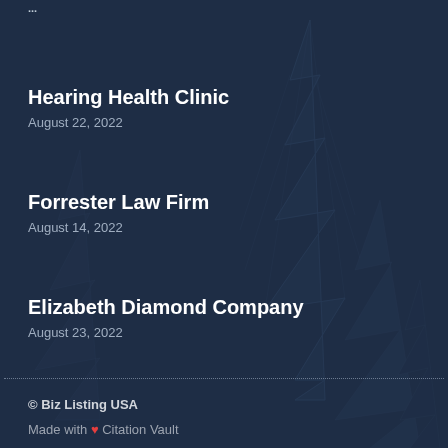...
Hearing Health Clinic
August 22, 2022
Forrester Law Firm
August 14, 2022
Elizabeth Diamond Company
August 23, 2022
© Biz Listing USA
Made with ❤ Citation Vault